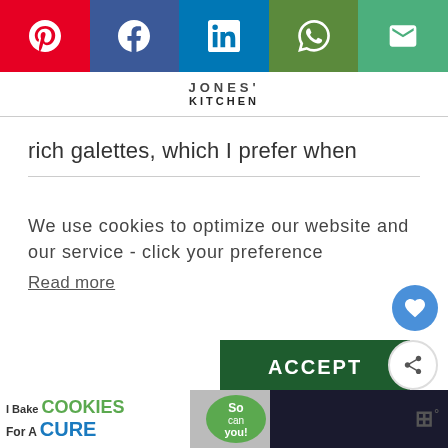Social share bar: Pinterest, Facebook, LinkedIn, WhatsApp, Email
JONES' KITCHEN
rich galettes, which I prefer when
We use cookies to optimize our website and our service - click your preference
Read more
Other filling ideas : sliced fried mushrooms, an egg, smoked ... brie…buckwheat pancakes are such a
WHAT'S NEXT → Körözött (Hungarian...
[Figure (other): Advertisement banner: I Bake COOKIES For A CURE - So can you! - Haldora, 11 Cancer Survivor]